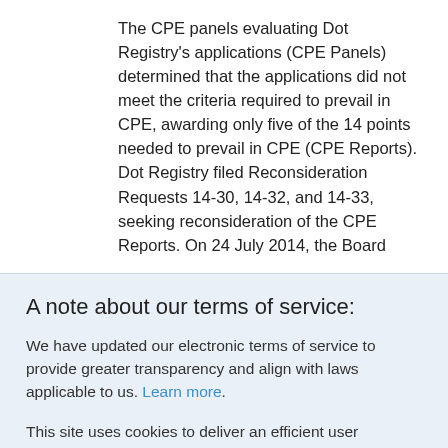The CPE panels evaluating Dot Registry's applications (CPE Panels) determined that the applications did not meet the criteria required to prevail in CPE, awarding only five of the 14 points needed to prevail in CPE (CPE Reports). Dot Registry filed Reconsideration Requests 14-30, 14-32, and 14-33, seeking reconsideration of the CPE Reports. On 24 July 2014, the Board
A note about our terms of service:
We have updated our electronic terms of service to provide greater transparency and align with laws applicable to us. Learn more.
This site uses cookies to deliver an efficient user experience and to help us see how the site is used. Learn more. OK